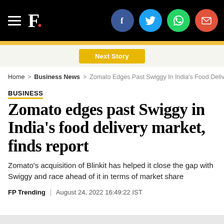F. [Firstpost logo with social share icons: Facebook, Twitter, WhatsApp, Email]
Next Story
Home > Business News > Zomato Edges Past Swiggy In India's Food Delivery
BUSINESS
Zomato edges past Swiggy in India's food delivery market, finds report
Zomato's acquisition of Blinkit has helped it close the gap with Swiggy and race ahead of it in terms of market share
FP Trending | August 24, 2022 16:49:22 IST